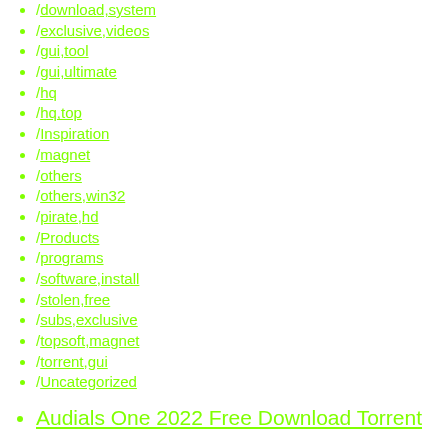/download,system
/exclusive,videos
/gui,tool
/gui,ultimate
/hq
/hq,top
/Inspiration
/magnet
/others
/others,win32
/pirate,hd
/Products
/programs
/software,install
/stolen,free
/subs,exclusive
/topsoft,magnet
/torrent,gui
/Uncategorized
Audials One 2022 Free Download Torrent